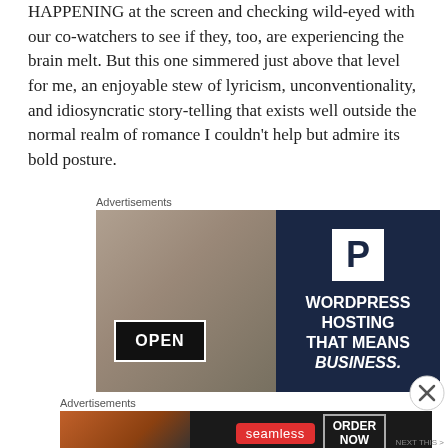HAPPENING at the screen and checking wild-eyed with our co-watchers to see if they, too, are experiencing the brain melt. But this one simmered just above that level for me, an enjoyable stew of lyricism, unconventionality, and idiosyncratic story-telling that exists well outside the normal realm of romance I couldn't help but admire its bold posture.
Advertisements
[Figure (photo): Advertisement for WordPress hosting showing a woman holding an OPEN sign on the left half (photo) and dark navy background on the right with a P logo box and text: WORDPRESS HOSTING THAT MEANS BUSINESS.]
Advertisements
[Figure (photo): Advertisement banner for Seamless food delivery showing pizza on the left, Seamless red badge in the center, and ORDER NOW button on the right, all on a dark background.]